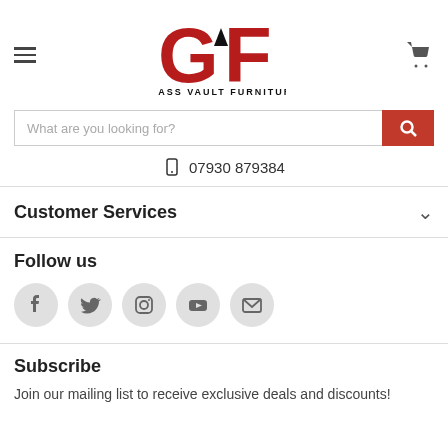[Figure (logo): Glass Vault Furniture logo — large red GVF letters with a black arrow/chevron between G and F, and 'GLASS VAULT FURNITURE' text below]
What are you looking for?
07930 879384
Customer Services
Follow us
[Figure (infographic): Social media icons: Facebook, Twitter, Instagram, YouTube, Email — circular grey buttons]
Subscribe
Join our mailing list to receive exclusive deals and discounts!